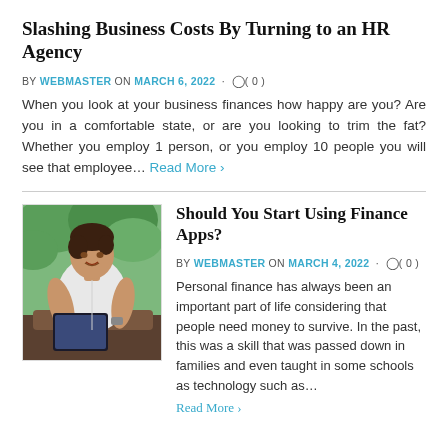Slashing Business Costs By Turning to an HR Agency
BY WEBMASTER ON MARCH 6, 2022 · ( 0 )
When you look at your business finances how happy are you? Are you in a comfortable state, or are you looking to trim the fat? Whether you employ 1 person, or you employ 10 people you will see that employee… Read More ›
Should You Start Using Finance Apps?
BY WEBMASTER ON MARCH 4, 2022 · ( 0 )
[Figure (photo): A young man sitting outdoors smiling and using a tablet device, with green foliage in the background.]
Personal finance has always been an important part of life considering that people need money to survive. In the past, this was a skill that was passed down in families and even taught in some schools as technology such as… Read More ›